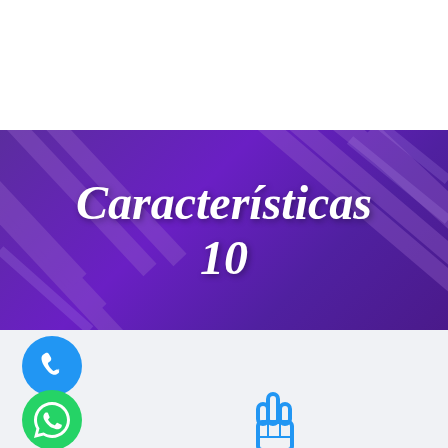[Figure (illustration): Purple banner with decorative geometric lines and text 'Características 10' in white italic font]
[Figure (illustration): Blue phone call icon (circle with handset)]
[Figure (illustration): Green WhatsApp icon (circle with chat bubble and phone)]
[Figure (illustration): Blue pointing hand cursor icon]